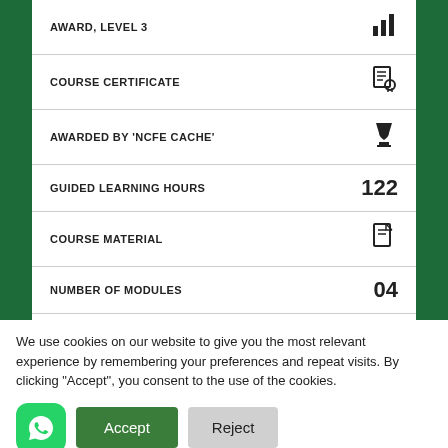AWARD, LEVEL 3
COURSE CERTIFICATE
AWARDED BY 'NCFE CACHE'
GUIDED LEARNING HOURS — 122
COURSE MATERIAL
NUMBER OF MODULES — 04
ASSESSMENT INCLUDED
We use cookies on our website to give you the most relevant experience by remembering your preferences and repeat visits. By clicking "Accept", you consent to the use of the cookies.
Accept | Reject